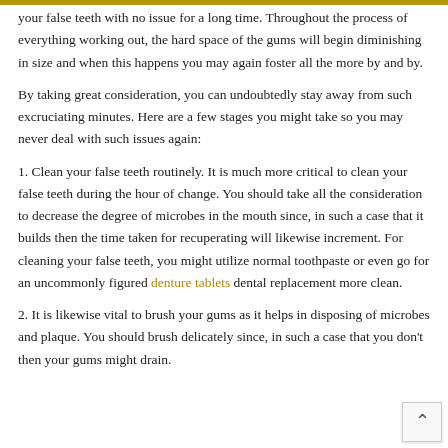your false teeth with no issue for a long time. Throughout the process of everything working out, the hard space of the gums will begin diminishing in size and when this happens you may again foster all the more by and by.
By taking great consideration, you can undoubtedly stay away from such excruciating minutes. Here are a few stages you might take so you may never deal with such issues again:
1. Clean your false teeth routinely. It is much more critical to clean your false teeth during the hour of change. You should take all the consideration to decrease the degree of microbes in the mouth since, in such a case that it builds then the time taken for recuperating will likewise increment. For cleaning your false teeth, you might utilize normal toothpaste or even go for an uncommonly figured denture tablets dental replacement more clean.
2. It is likewise vital to brush your gums as it helps in disposing of microbes and plaque. You should brush delicately since, in such a case that you don't then your gums might drain.